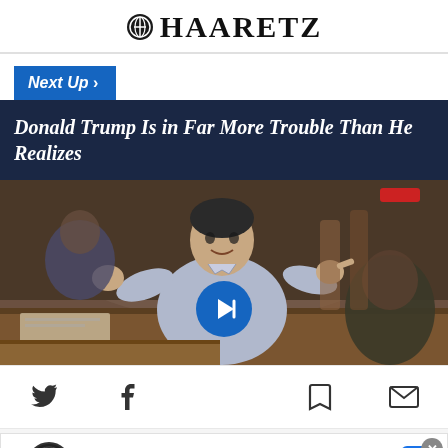HAARETZ
Next Up >
Donald Trump Is in Far More Trouble Than He Realizes
[Figure (photo): A man in a light blue shirt gesturing with both hands raised in what appears to be a parliament or legislative chamber setting, with wooden furnishings and other people visible in the background.]
[Figure (infographic): Social media sharing bar with Twitter, Facebook, bookmark, and email icons, plus a central blue circular button with an arrow icon.]
Goodyear Tire Promotion Virginia Tire & Auto of Ashburn